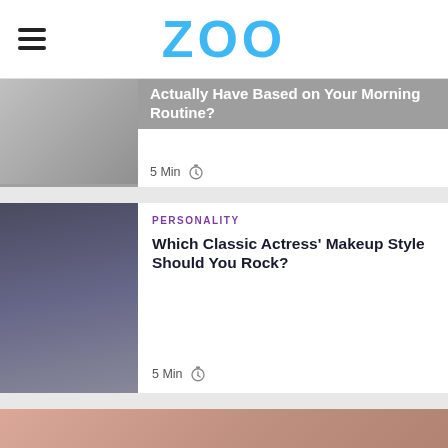ZOO
[Figure (photo): Person covering face with hands, partially visible, in card with partially visible title about Morning Routine]
Actually Have Based on Your Morning Routine?
5 Min ⏱
PERSONALITY
[Figure (photo): Classic actress wearing large wide-brim hat, smiling, touching earring]
Which Classic Actress' Makeup Style Should You Rock?
5 Min ⏱
[Figure (photo): Woman with curly hair on pink background, partially visible at bottom of page]